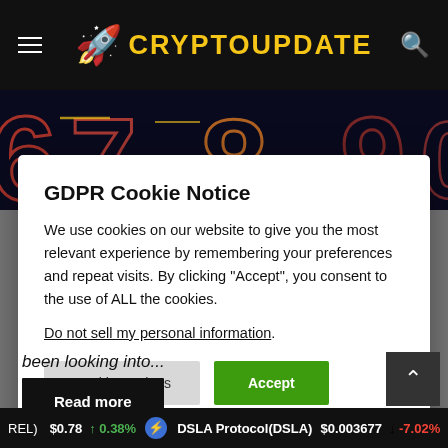CRYPTOUPDATE
[Figure (photo): Dark background with large neon-style numbers 6, 7, 8, 9 in red and yellow outlines]
GDPR Cookie Notice
We use cookies on our website to give you the most relevant experience by remembering your preferences and repeat visits. By clicking “Accept”, you consent to the use of ALL the cookies.
Do not sell my personal information.
Cookie Settings    Accept
been looking into...
Read more
REL) $0.78 ↑ 0.38%   DSLA Protocol(DSLA) $0.003677 ↓ -7.02%